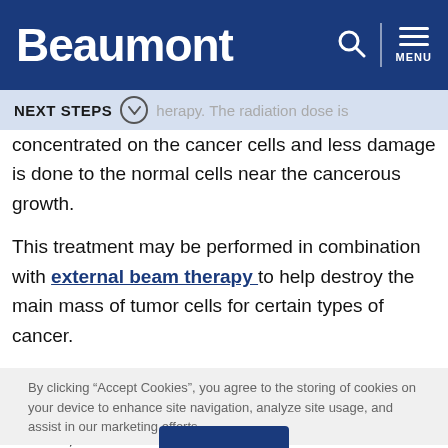Beaumont
NEXT STEPS
erapy. The radiation dose is concentrated on the cancer cells and less damage is done to the normal cells near the cancerous growth.
This treatment may be performed in combination with external beam therapy to help destroy the main mass of tumor cells for certain types of cancer.
Brachytherapy is often used in the treatment of cervical, uterine, vaginal, prostate, or breast cancer,
By clicking “Accept Cookies”, you agree to the storing of cookies on your device to enhance site navigation, analyze site usage, and assist in our marketing efforts.